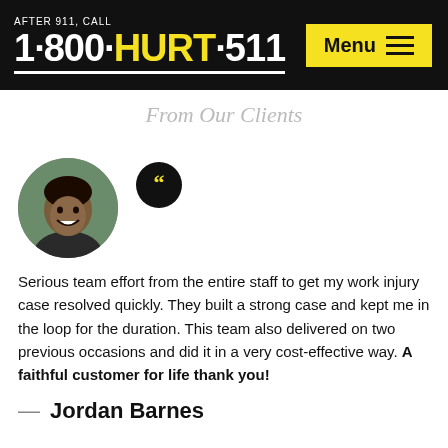AFTER 911, CALL 1·800·HURT·511 | Menu
From Our Clients
[Figure (photo): Circular portrait photo of Jordan Barnes, a young Black man smiling]
Serious team effort from the entire staff to get my work injury case resolved quickly. They built a strong case and kept me in the loop for the duration. This team also delivered on two previous occasions and did it in a very cost-effective way. A faithful customer for life thank you!
— Jordan Barnes